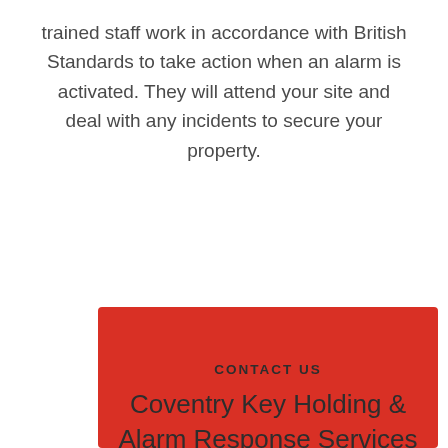trained staff work in accordance with British Standards to take action when an alarm is activated. They will attend your site and deal with any incidents to secure your property.
CONTACT US
Coventry Key Holding & Alarm Response Services